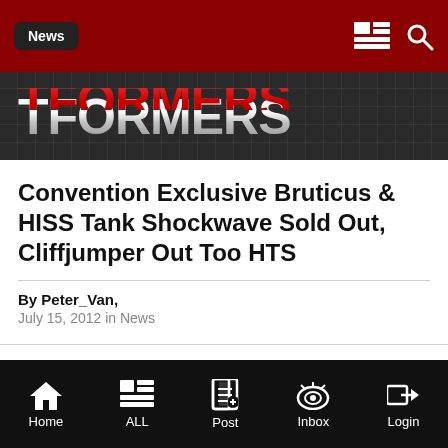News
[Figure (logo): TFORMERS logo in stylized red and silver metallic lettering on dark grid background]
Convention Exclusive Bruticus & HISS Tank Shockwave Sold Out, Cliffjumper Out Too HTS
By Peter_Van,
July 15, 2012 in News
Page 2 of 10 | PREV | NEXT | Home | ALL | Post | Inbox | Login